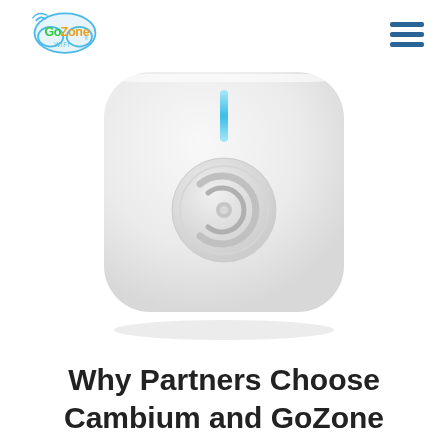GoZone WiFi logo and navigation menu
[Figure (photo): A white square wireless access point device with rounded corners, a small blue LED indicator line at the top, and a circular Cambium Networks logo emblem in the center, photographed from above against a white background.]
Why Partners Choose Cambium and GoZone